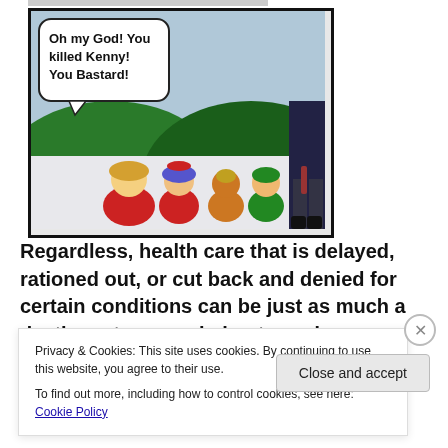[Figure (illustration): South Park cartoon scene showing characters Cartman, Stan, Kenny (being held), Kyle, and a police officer with a speech bubble reading 'Oh my God! You killed Kenny! You Bastard!']
Regardless, health care that is delayed, rationed out, or cut back and denied for certain conditions can be just as much a death sentence as being turned away
Privacy & Cookies: This site uses cookies. By continuing to use this website, you agree to their use.
To find out more, including how to control cookies, see here: Cookie Policy